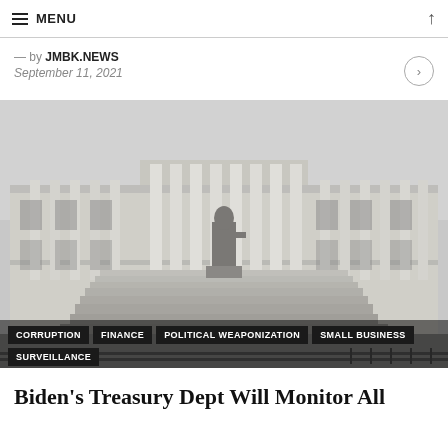MENU
— by JMBK.NEWS
September 11, 2021
[Figure (photo): Black and white photograph of the US Treasury Department building with neoclassical columns and a statue in front]
CORRUPTION  FINANCE  POLITICAL WEAPONIZATION  SMALL BUSINESS  SURVEILLANCE
Biden's Treasury Dept Will Monitor All